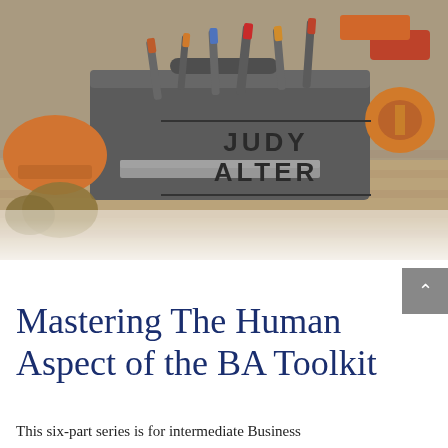[Figure (photo): A toolbox with various tools including a tape measure, screwdrivers, gloves, a hard hat, and other construction/workshop tools arranged on a wooden surface. The image has a slightly desaturated, grayish overlay.]
JUDY ALTER
Mastering The Human Aspect of the BA Toolkit
This six-part series is for intermediate Business